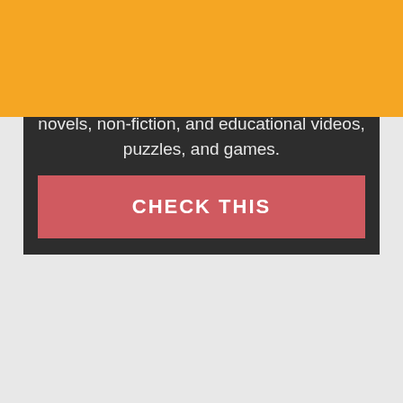[Figure (logo): Eugene Airport logo — dark blue bold text 'EUGENE AIRPORT' in a rectangular border on orange background]
novels, non-fiction, and educational videos, puzzles, and games.
CHECK THIS